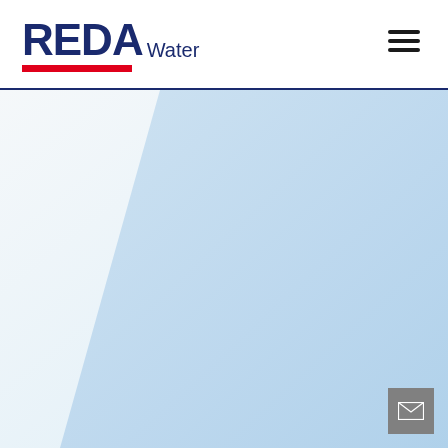[Figure (logo): REDA Water company logo with red underline bar, blue text, and hamburger menu icon in top right]
[Figure (illustration): Light blue diagonal geometric shape/panel on a white-to-light-blue gradient background, occupying the lower portion of the page below the header]
[Figure (other): Grey square envelope/email button in bottom right corner]